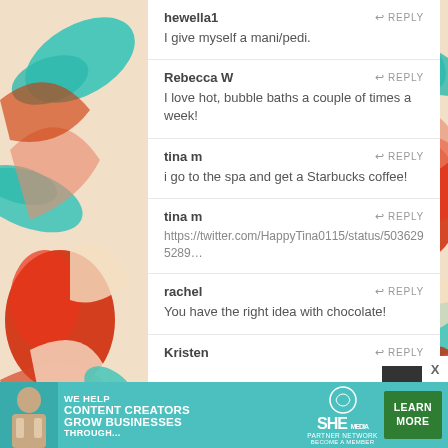[Figure (illustration): Decorative floral/swirl pattern background in red, teal, and cream colors on left and right sides of the page]
hewella1 — REPLY
I give myself a mani/pedi.
Rebecca W — REPLY
I love hot, bubble baths a couple of times a week!
tina m — REPLY
i go to the spa and get a Starbucks coffee!
tina m — REPLY
https://twitter.com/HappyTina0115/status/5036295289…
rachel — REPLY
You have the right idea with chocolate!
Kristen — REPLY
[Figure (infographic): Advertisement banner: 'WE HELP CONTENT CREATORS GROW BUSINESSES THROUGH...' with SHE Partner Network logo and 'LEARN MORE' button on teal background]